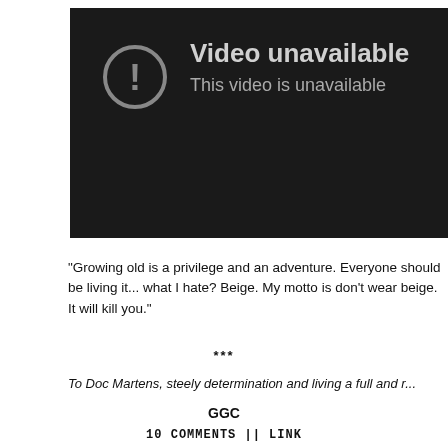[Figure (screenshot): YouTube-style 'Video unavailable' screen with a dark background, a circular exclamation mark icon, and the text 'Video unavailable' and 'This video is unavailable']
"Growing old is a privilege and an adventure. Everyone should be living it... what I hate? Beige. My motto is don't wear beige. It will kill you."
***
To Doc Martens, steely determination and living a full and r...
GGC
10 COMMENTS || LINK